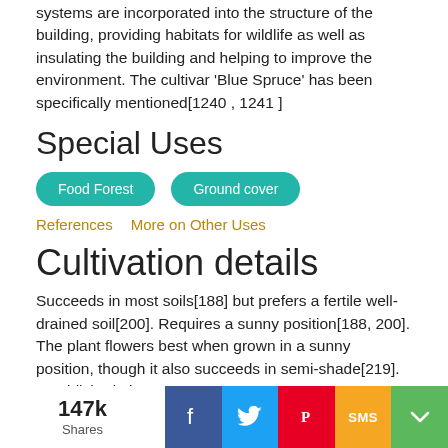systems are incorporated into the structure of the building, providing habitats for wildlife as well as insulating the building and helping to improve the environment. The cultivar 'Blue Spruce' has been specifically mentioned[1240 , 1241 ]
Special Uses
Food Forest
Ground cover
References   More on Other Uses
Cultivation details
Succeeds in most soils[188] but prefers a fertile well-drained soil[200]. Requires a sunny position[188, 200]. The plant flowers best when grown in a sunny position, though it also succeeds in semi-shade[219]. Established plants
147k Shares  [Facebook] [Twitter] [Pinterest] [SMS] [Share]